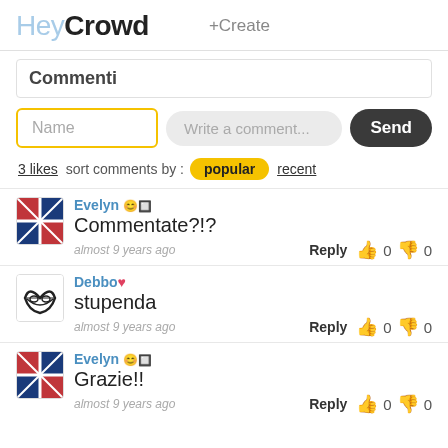HeyCrowd +Create
Commenti
Name | Write a comment... | Send
3 likes  sort comments by :  popular  recent
Evelyn 😊 | Commentate?!? | almost 9 years ago | Reply 0 0
Debbo♥ | stupenda | almost 9 years ago | Reply 0 0
Evelyn 😊 | Grazie!! | almost 9 years ago | Reply 0 0